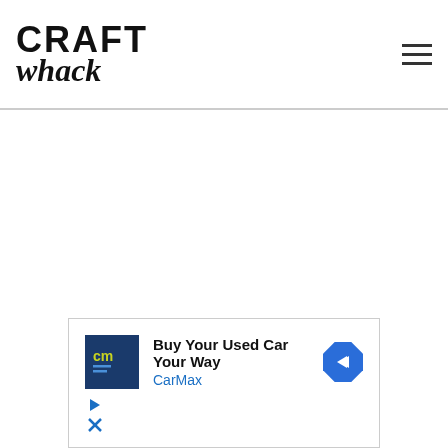CRAFT whack
[Figure (screenshot): Advertisement: CarMax - Buy Your Used Car Your Way. Shows CarMax logo (blue background with 'cm' in yellow/blue text), navigation arrow icon in blue diamond, and ad controls (play/close buttons).]